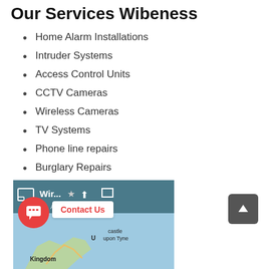Our Services Wibeness
Home Alarm Installations
Intruder Systems
Access Control Units
CCTV Cameras
Wireless Cameras
TV Systems
Phone line repairs
Burglary Repairs
[Figure (screenshot): Google Maps screenshot showing Wir... location with toolbar icons, About link, and map view of United Kingdom with Newcastle upon Tyne visible. A Contact Us chat popup and red chat bubble are overlaid. A back-to-top arrow button is shown to the right.]